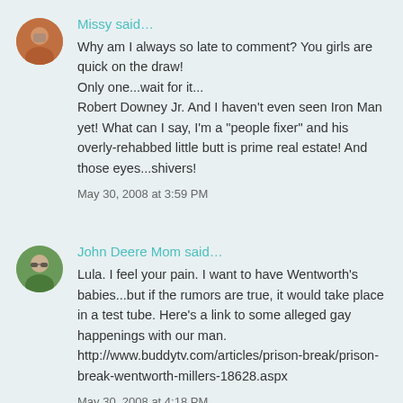[Figure (photo): Circular avatar photo of Missy]
Missy said…
Why am I always so late to comment? You girls are quick on the draw!
Only one...wait for it...
Robert Downey Jr. And I haven't even seen Iron Man yet! What can I say, I'm a "people fixer" and his overly-rehabbed little butt is prime real estate! And those eyes...shivers!
May 30, 2008 at 3:59 PM
[Figure (photo): Circular avatar photo of John Deere Mom]
John Deere Mom said…
Lula. I feel your pain. I want to have Wentworth's babies...but if the rumors are true, it would take place in a test tube. Here's a link to some alleged gay happenings with our man. http://www.buddytv.com/articles/prison-break/prison-break-wentworth-millers-18628.aspx
May 30, 2008 at 4:18 PM